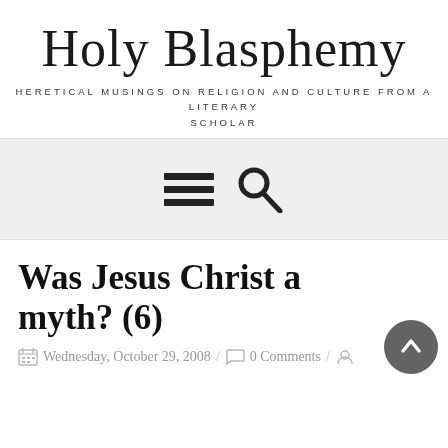Holy Blasphemy
Heretical musings on religion and culture from a literary scholar
[Figure (other): Navigation bar with hamburger menu icon and search icon on a light gray background]
Was Jesus Christ a myth? (6)
Wednesday, October 29, 2008 / 0 Comments /